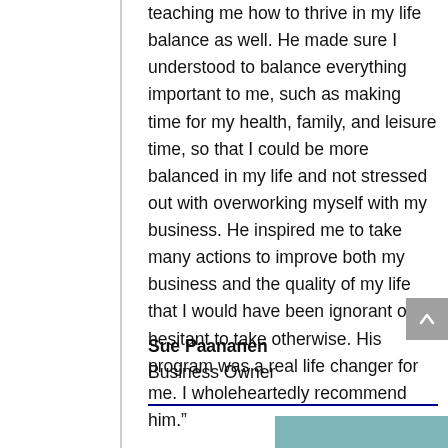teaching me how to thrive in my life balance as well. He made sure I understood to balance everything important to me, such as making time for my health, family, and leisure time, so that I could be more balanced in my life and not stressed out with overworking myself with my business. He inspired me to take many actions to improve both my business and the quality of my life that I would have been ignorant or hesitant to take otherwise. His program was a real life changer for me. I wholeheartedly recommend him.”
Sue Paananen
Business Owner
[Figure (photo): Partial photo of a person, top of head visible, teal/blue-grey background]